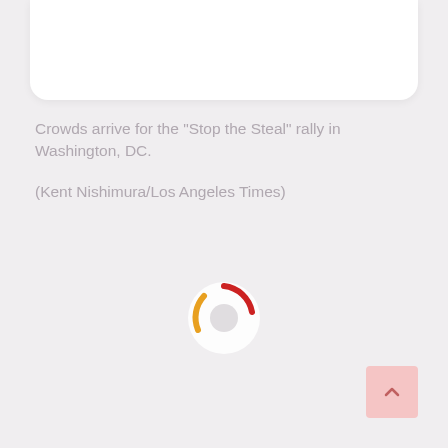[Figure (other): White card panel at top of page, partially visible, with rounded bottom corners]
Crowds arrive for the "Stop the Steal" rally in Washington, DC.
(Kent Nishimura/Los Angeles Times)
[Figure (other): Loading spinner graphic with orange and red arc segments on a light circular background]
[Figure (other): Back-to-top button in bottom right corner, pink/salmon background with upward chevron arrow icon]